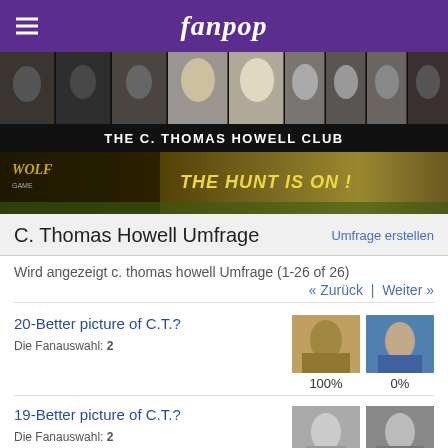fanpop
[Figure (photo): Photo strip collage of C. Thomas Howell images in black and white and color]
THE C. THOMAS HOWELL CLUB
[Figure (photo): Advertisement banner: Wolf - The Hunt Is On!]
C. Thomas Howell Umfrage
Umfrage erstellen
Wird angezeigt c. thomas howell Umfrage (1-26 of 26)
« Zurück | Weiter »
20-Better picture of C.T.?
Die Fanauswahl: 2
100%  0%
19-Better picture of C.T.?
Die Fanauswahl: 2
80%  20%